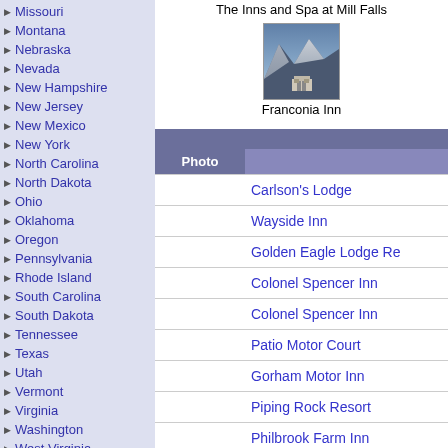Missouri
Montana
Nebraska
Nevada
New Hampshire
New Jersey
New Mexico
New York
North Carolina
North Dakota
Ohio
Oklahoma
Oregon
Pennsylvania
Rhode Island
South Carolina
South Dakota
Tennessee
Texas
Utah
Vermont
Virginia
Washington
West Virginia
Wisconsin
Wyoming
Inns For Sale
Links
The Inns and Spa at Mill Falls
[Figure (photo): Photo of Franconia Inn, a building in a mountainous snowy landscape]
Franconia Inn
| Photo |  |
| --- | --- |
|  | Carlson's Lodge |
|  | Wayside Inn |
|  | Golden Eagle Lodge Re... |
|  | Colonel Spencer Inn |
|  | Colonel Spencer Inn |
|  | Patio Motor Court |
|  | Gorham Motor Inn |
|  | Piping Rock Resort |
|  | Philbrook Farm Inn |
|  | Allen A Motor Inn |
Colorado Inns, Bed and Break...